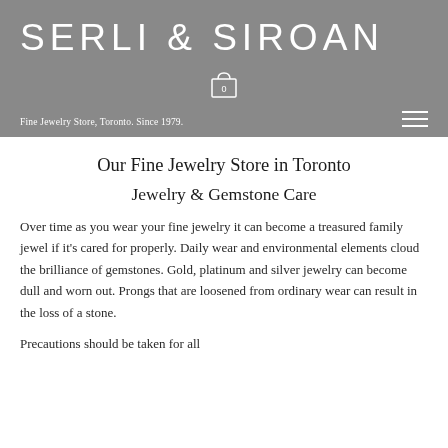SERLI & SIROAN
Fine Jewelry Store, Toronto.  Since 1979.
Our Fine Jewelry Store in Toronto
Jewelry  & Gemstone Care
Over time as you wear your fine jewelry it can become a treasured family jewel if it's cared for properly. Daily wear and environmental elements cloud the brilliance of gemstones. Gold, platinum and silver jewelry can become dull and worn out. Prongs that are loosened from ordinary wear can result in the loss of a stone.
Precautions should be taken for all